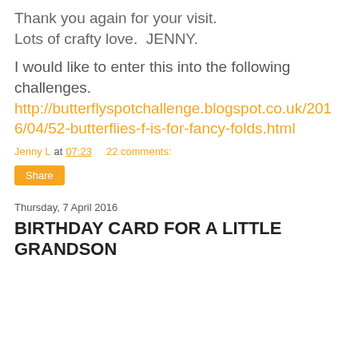Thank you again for your visit. Lots of crafty love.  JENNY.
I would like to enter this into the following challenges.
http://butterflyspotchallenge.blogspot.co.uk/2016/04/52-butterflies-f-is-for-fancy-folds.html
Jenny L at 07:23    22 comments:
Share
Thursday, 7 April 2016
BIRTHDAY CARD FOR A LITTLE GRANDSON